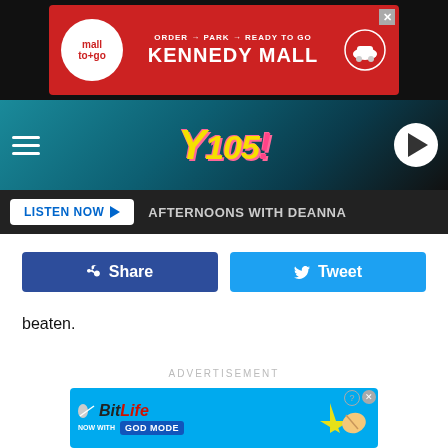[Figure (screenshot): Mall To Go advertisement banner: red background with mall logo, ORDER → PARK → READY TO GO tagline, KENNEDY MALL text, and car icon]
[Figure (logo): Y105 radio station header with teal/dark background, hamburger menu, Y105 logo in yellow/pink italic text, and white circular play button]
LISTEN NOW ▶  AFTERNOONS WITH DEANNA
[Figure (screenshot): Facebook Share button (dark blue) and Twitter Tweet button (light blue)]
beaten.
ADVERTISEMENT
[Figure (screenshot): BitLife mobile game advertisement: cyan background with BitLife logo, 'NOW WITH GOD MODE' text, lightning bolt graphic, and pointing hand illustration]